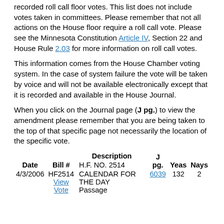recorded roll call floor votes. This list does not include votes taken in committees. Please remember that not all actions on the House floor require a roll call vote. Please see the Minnesota Constitution Article IV, Section 22 and House Rule 2.03 for more information on roll call votes.
This information comes from the House Chamber voting system. In the case of system failure the vote will be taken by voice and will not be available electronically except that it is recorded and available in the House Journal.
When you click on the Journal page (J pg.) to view the amendment please remember that you are being taken to the top of that specific page not necessarily the location of the specific vote.
| Date | Bill # | Description | J pg. | Yeas | Nays |
| --- | --- | --- | --- | --- | --- |
| 4/3/2006 | HF2514 View Vote | H.F. NO. 2514 CALENDAR FOR THE DAY Passage | 6039 | 132 | 2 |